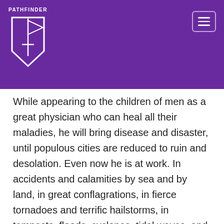[Figure (logo): Pathfinder logo: white pennant/shield shape with sword, text PATHFINDER above, on purple background with hamburger menu button top right]
While appearing to the children of men as a great physician who can heal all their maladies, he will bring disease and disaster, until populous cities are reduced to ruin and desolation. Even now he is at work. In accidents and calamities by sea and by land, in great conflagrations, in fierce tornadoes and terrific hailstorms, in tempests, floods, cyclones, tidal waves, and earthquakes, in every place and in a thousand forms, Satan is exercising his power. He sweeps away the ripening harvest, and famine and distress follow. He imparts to the air a deadly taint, and thousands